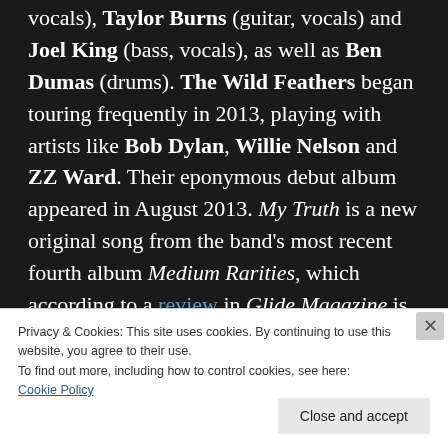vocals), Taylor Burns (guitar, vocals) and Joel King (bass, vocals), as well as Ben Dumas (drums). The Wild Feathers began touring frequently in 2013, playing with artists like Bob Dylan, Willie Nelson and ZZ Ward. Their eponymous debut album appeared in August 2013. My Truth is a new original song from the band's most recent fourth album Medium Rarities, which according to a review in Glide Magazine is a collection of covers, demos, B-sides and a handful of new tunes. My Truth is a
Privacy & Cookies: This site uses cookies. By continuing to use this website, you agree to their use.
To find out more, including how to control cookies, see here:
Cookie Policy
Close and accept